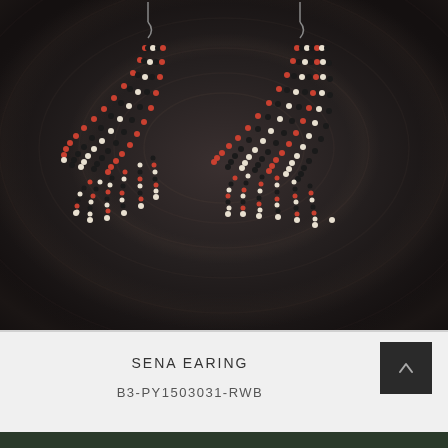[Figure (photo): Two beaded fan-shaped earrings with red, black, and white/cream seed beads arranged in cascading strands, photographed on a dark wood grain surface]
SENA EARING
B3-PY1503031-RWB